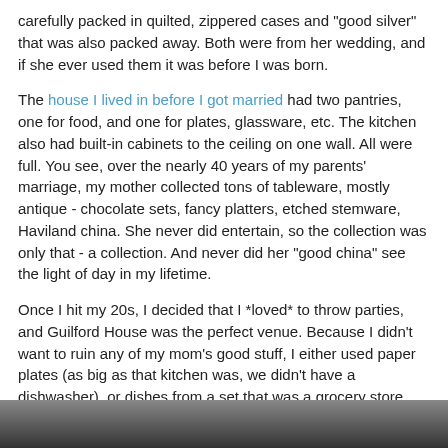carefully packed in quilted, zippered cases and "good silver" that was also packed away. Both were from her wedding, and if she ever used them it was before I was born.
The house I lived in before I got married had two pantries, one for food, and one for plates, glassware, etc. The kitchen also had built-in cabinets to the ceiling on one wall. All were full. You see, over the nearly 40 years of my parents' marriage, my mother collected tons of tableware, mostly antique - chocolate sets, fancy platters, etched stemware, Haviland china. She never did entertain, so the collection was only that - a collection. And never did her "good china" see the light of day in my lifetime.
Once I hit my 20s, I decided that I *loved* to throw parties, and Guilford House was the perfect venue. Because I didn't want to ruin any of my mom's good stuff, I either used paper plates (as big as that kitchen was, we didn't have a dishwasher), or dishes from a set that was a grocery store giveaway in the 70s.
[Figure (photo): Bottom strip of a photograph, partially visible at the bottom of the page]